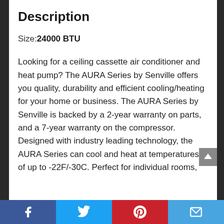Description
Size: 24000 BTU
Looking for a ceiling cassette air conditioner and heat pump? The AURA Series by Senville offers you quality, durability and efficient cooling/heating for your home or business. The AURA Series by Senville is backed by a 2-year warranty on parts, and a 7-year warranty on the compressor. Designed with industry leading technology, the AURA Series can cool and heat at temperatures of up to -22F/-30C. Perfect for individual rooms,
Facebook | Twitter | Pinterest | Email